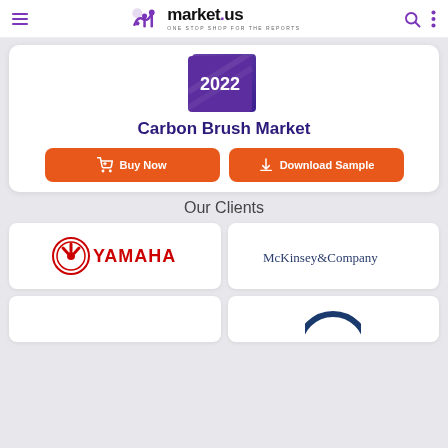market.us — ONE STOP SHOP FOR THE REPORTS
[Figure (illustration): Partial view of a market research report cover book showing '2022' in purple/blue gradient]
Carbon Brush Market
Buy Now | Download Sample
Our Clients
[Figure (logo): YAMAHA logo — red text with red tuning fork emblem]
[Figure (logo): McKinsey & Company logo — dark blue serif text]
[Figure (logo): Partially visible logo at bottom left (cut off)]
[Figure (logo): Partially visible logo at bottom right showing dark blue circular mark (cut off)]